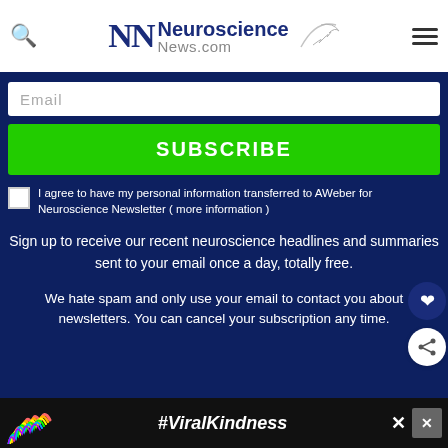Neuroscience News.com
Email
SUBSCRIBE
I agree to have my personal information transferred to AWeber for Neuroscience Newsletter ( more information )
Sign up to receive our recent neuroscience headlines and summaries sent to your email once a day, totally free.
We hate spam and only use your email to contact you about newsletters. You can cancel your subscription any time.
[Figure (other): Advertisement banner with rainbow graphic and #ViralKindness text]